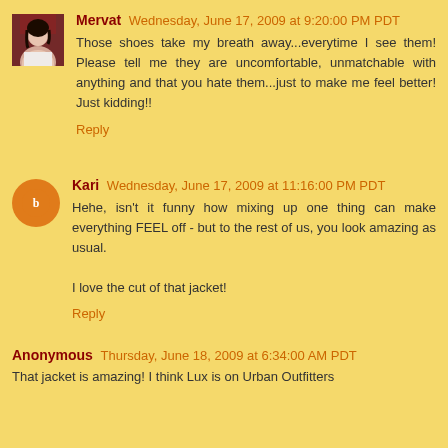Mervat Wednesday, June 17, 2009 at 9:20:00 PM PDT
Those shoes take my breath away...everytime I see them! Please tell me they are uncomfortable, unmatchable with anything and that you hate them...just to make me feel better! Just kidding!!
Reply
Kari Wednesday, June 17, 2009 at 11:16:00 PM PDT
Hehe, isn't it funny how mixing up one thing can make everything FEEL off - but to the rest of us, you look amazing as usual.

I love the cut of that jacket!
Reply
Anonymous Thursday, June 18, 2009 at 6:34:00 AM PDT
That jacket is amazing! I think Lux is on Urban Outfitters